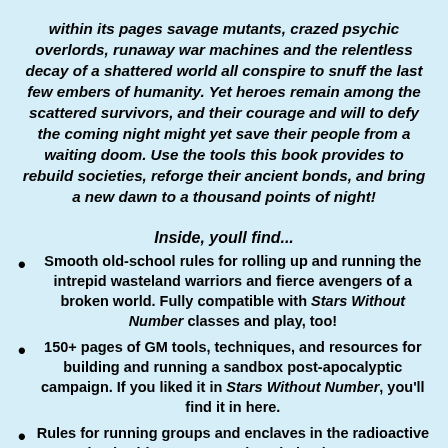within its pages savage mutants, crazed psychic overlords, runaway war machines and the relentless decay of a shattered world all conspire to snuff the last few embers of humanity. Yet heroes remain among the scattered survivors, and their courage and will to defy the coming night might yet save their people from a waiting doom. Use the tools this book provides to rebuild societies, reforge their ancient bonds, and bring a new dawn to a thousand points of night!
Inside, youll find...
Smooth old-school rules for rolling up and running the intrepid wasteland warriors and fierce avengers of a broken world. Fully compatible with Stars Without Number classes and play, too!
150+ pages of GM tools, techniques, and resources for building and running a sandbox post-apocalyptic campaign. If you liked it in Stars Without Number, you'll find it in here.
Rules for running groups and enclaves in the radioactive wasteland, with concrete tools to help players save or doom the hard-pressed people around them. Found your own or crush someone else's!